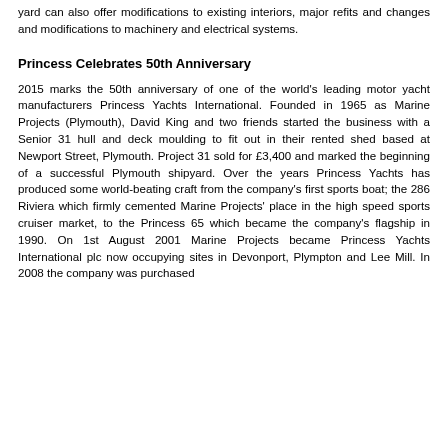yard can also offer modifications to existing interiors, major refits and changes and modifications to machinery and electrical systems.
Princess Celebrates 50th Anniversary
2015 marks the 50th anniversary of one of the world's leading motor yacht manufacturers Princess Yachts International. Founded in 1965 as Marine Projects (Plymouth), David King and two friends started the business with a Senior 31 hull and deck moulding to fit out in their rented shed based at Newport Street, Plymouth. Project 31 sold for £3,400 and marked the beginning of a successful Plymouth shipyard. Over the years Princess Yachts has produced some world-beating craft from the company's first sports boat; the 286 Riviera which firmly cemented Marine Projects' place in the high speed sports cruiser market, to the Princess 65 which became the company's flagship in 1990. On 1st August 2001 Marine Projects became Princess Yachts International plc now occupying sites in Devonport, Plympton and Lee Mill. In 2008 the company was purchased